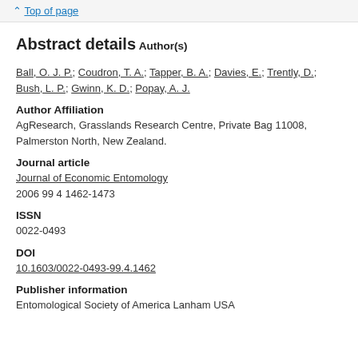^ Top of page
Abstract details
Author(s)
Ball, O. J. P.; Coudron, T. A.; Tapper, B. A.; Davies, E.; Trently, D.; Bush, L. P.; Gwinn, K. D.; Popay, A. J.
Author Affiliation
AgResearch, Grasslands Research Centre, Private Bag 11008, Palmerston North, New Zealand.
Journal article
Journal of Economic Entomology
2006 99 4 1462-1473
ISSN
0022-0493
DOI
10.1603/0022-0493-99.4.1462
Publisher information
Entomological Society of America Lanham USA